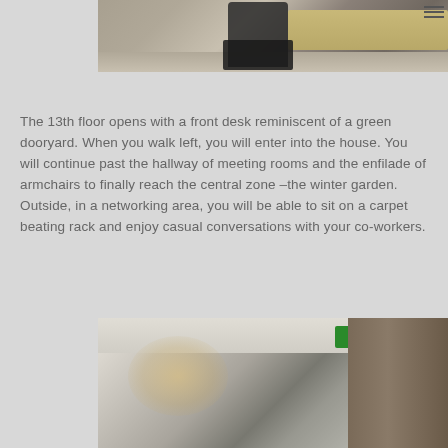[Figure (photo): Office interior photo showing desks and chairs, cropped at top of page]
The 13th floor opens with a front desk reminiscent of a green dooryard. When you walk left, you will enter into the house. You will continue past the hallway of meeting rooms and the enfilade of armchairs to finally reach the central zone –the winter garden. Outside, in a networking area, you will be able to sit on a carpet beating rack and enjoy casual conversations with your co-workers.
[Figure (photo): Office interior photo showing a decorative chandelier, ceiling panels, plants, and a hallway with exit sign]